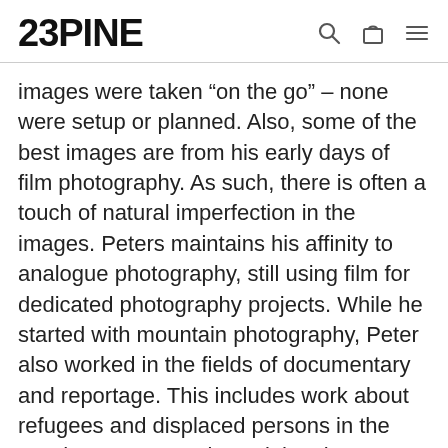23PINE
images were taken “on the go” – none were setup or planned. Also, some of the best images are from his early days of film photography. As such, there is often a touch of natural imperfection in the images. Peters maintains his affinity to analogue photography, still using film for dedicated photography projects. While he started with mountain photography, Peter also worked in the fields of documentary and reportage. This includes work about refugees and displaced persons in the South Caucasus. His work has been largely under the radar, but four of his images won Merit Awards in the 2012 and 2013 Black & White Magazine Single Image Contests, and he has published in